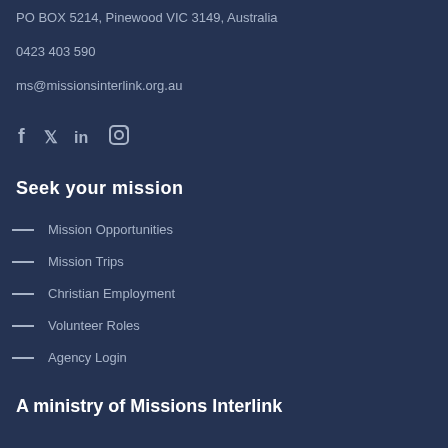PO BOX 5214, Pinewood VIC 3149, Australia
0423 403 590
ms@missionsinterlink.org.au
[Figure (other): Social media icons: Facebook, Twitter, LinkedIn, Instagram]
Seek your mission
Mission Opportunities
Mission Trips
Christian Employment
Volunteer Roles
Agency Login
A ministry of Missions Interlink